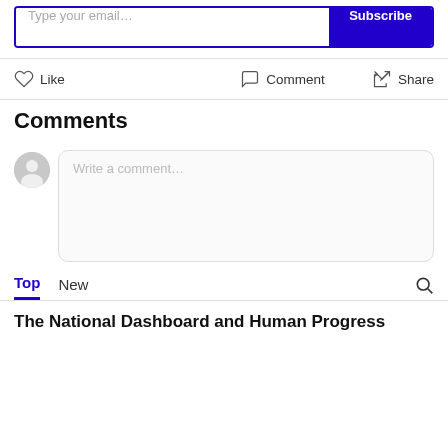[Figure (screenshot): Email subscription bar with 'Type your email...' placeholder and blue 'Subscribe' button]
[Figure (screenshot): Action bar with Like (heart icon), Comment (speech bubble icon), and Share (arrow icon) buttons]
Comments
[Figure (screenshot): Comment input area with gray user avatar and rounded text box with placeholder 'Write a comment...']
[Figure (screenshot): Tab bar with 'Top' (active, blue, underlined) and 'New' tabs, and a search icon on the right]
The National Dashboard and Human Progress